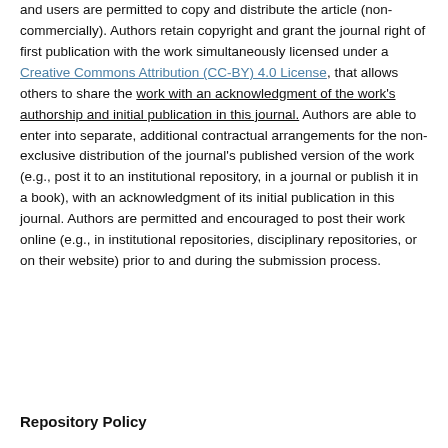and users are permitted to copy and distribute the article (non-commercially). Authors retain copyright and grant the journal right of first publication with the work simultaneously licensed under a Creative Commons Attribution (CC-BY) 4.0 License, that allows others to share the work with an acknowledgment of the work's authorship and initial publication in this journal. Authors are able to enter into separate, additional contractual arrangements for the non-exclusive distribution of the journal's published version of the work (e.g., post it to an institutional repository, in a journal or publish it in a book), with an acknowledgment of its initial publication in this journal. Authors are permitted and encouraged to post their work online (e.g., in institutional repositories, disciplinary repositories, or on their website) prior to and during the submission process.
Repository Policy